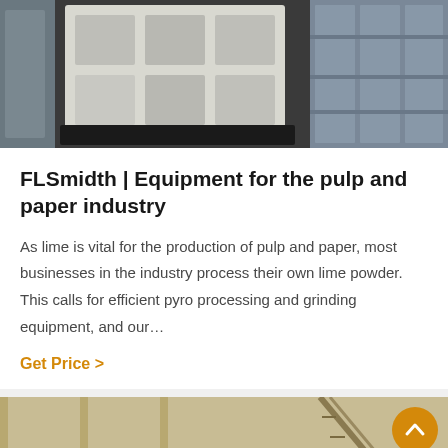[Figure (photo): Industrial machinery — white/grey heavy equipment components (crusher or mill parts) against dark background, viewed from above/side]
FLSmidth | Equipment for the pulp and paper industry
As lime is vital for the production of pulp and paper, most businesses in the industry process their own lime powder. This calls for efficient pyro processing and grinding equipment, and our…
Get Price  >
[Figure (photo): Industrial rotary drum/kiln or mill equipment inside a large industrial building, with gear wheel visible on the right side. An orange back-to-top button overlays the top-right corner.]